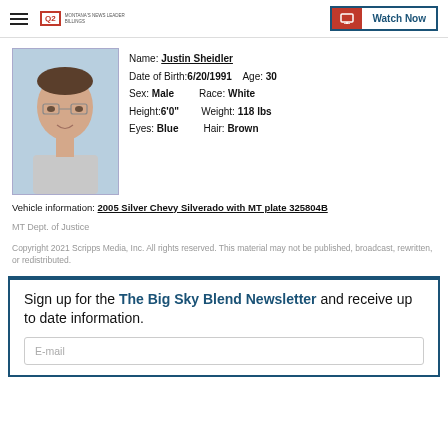Q2 Montana's News Leader Billings | Watch Now
[Figure (photo): Headshot photo of Justin Sheidler, a young white male with glasses and short dark hair, wearing a light-colored shirt against a blue background.]
Name: Justin Sheidler
Date of Birth: 6/20/1991  Age: 30
Sex: Male  Race: White
Height: 6'0"  Weight: 118 lbs
Eyes: Blue  Hair: Brown
Vehicle information: 2005 Silver Chevy Silverado with MT plate 325804B
MT Dept. of Justice
Copyright 2021 Scripps Media, Inc. All rights reserved. This material may not be published, broadcast, rewritten, or redistributed.
Sign up for the The Big Sky Blend Newsletter and receive up to date information.